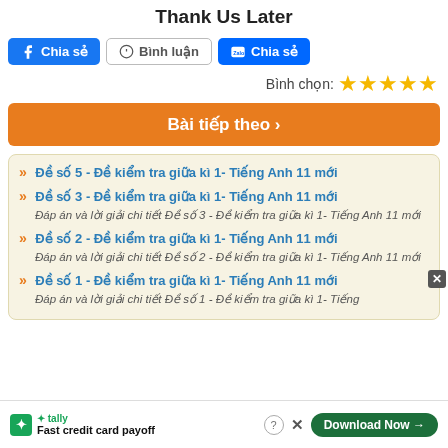Thank Us Later
Chia sẻ  Bình luận  Chia sẻ
Bình chọn: ★★★★★
Bài tiếp theo ›
» Đề số 5 - Đề kiểm tra giữa kì 1- Tiếng Anh 11 mới
» Đề số 3 - Đề kiểm tra giữa kì 1- Tiếng Anh 11 mới
Đáp án và lời giải chi tiết Đề số 3 - Đề kiểm tra giữa kì 1- Tiếng Anh 11 mới
» Đề số 2 - Đề kiểm tra giữa kì 1- Tiếng Anh 11 mới
Đáp án và lời giải chi tiết Đề số 2 - Đề kiểm tra giữa kì 1- Tiếng Anh 11 mới
» Đề số 1 - Đề kiểm tra giữa kì 1- Tiếng Anh 11 mới
Đáp án và lời giải chi tiết Đề số 1 - Đề kiểm tra giữa kì 1- Tiếng
tally Fast credit card payoff  Download Now →